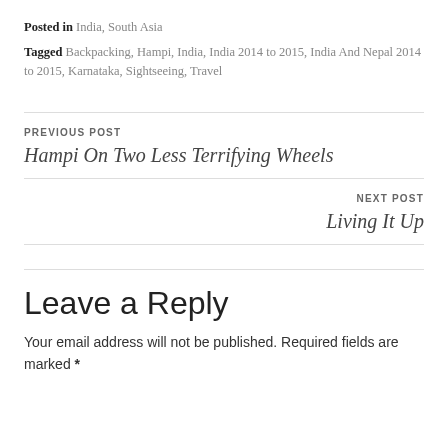Posted in India, South Asia
Tagged Backpacking, Hampi, India, India 2014 to 2015, India And Nepal 2014 to 2015, Karnataka, Sightseeing, Travel
PREVIOUS POST
Hampi On Two Less Terrifying Wheels
NEXT POST
Living It Up
Leave a Reply
Your email address will not be published. Required fields are marked *